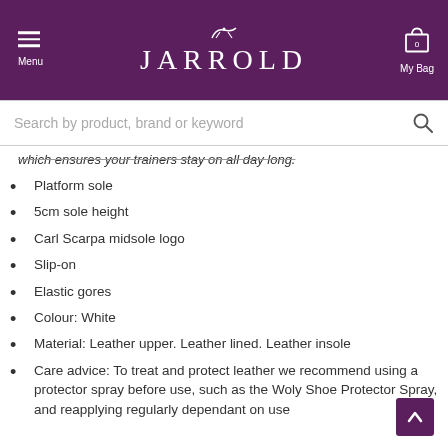JARROLD — Menu | My Bag (0)
which ensures your trainers stay on all day long.
Platform sole
5cm sole height
Carl Scarpa midsole logo
Slip-on
Elastic gores
Colour: White
Material: Leather upper. Leather lined. Leather insole
Care advice: To treat and protect leather we recommend using a protector spray before use, such as the Woly Shoe Protector Spray, and reapplying regularly dependant on use